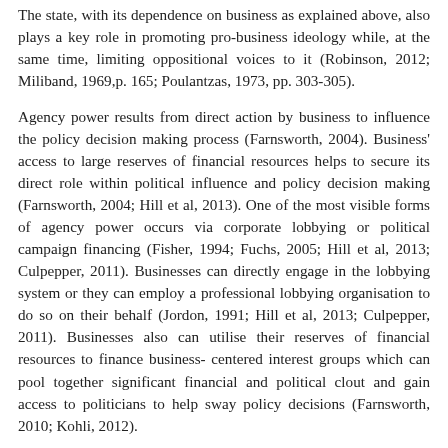The state, with its dependence on business as explained above, also plays a key role in promoting pro-business ideology while, at the same time, limiting oppositional voices to it (Robinson, 2012; Miliband, 1969,p. 165; Poulantzas, 1973, pp. 303-305).
Agency power results from direct action by business to influence the policy decision making process (Farnsworth, 2004). Business' access to large reserves of financial resources helps to secure its direct role within political influence and policy decision making (Farnsworth, 2004; Hill et al, 2013). One of the most visible forms of agency power occurs via corporate lobbying or political campaign financing (Fisher, 1994; Fuchs, 2005; Hill et al, 2013; Culpepper, 2011). Businesses can directly engage in the lobbying system or they can employ a professional lobbying organisation to do so on their behalf (Jordon, 1991; Hill et al, 2013; Culpepper, 2011). Businesses also can utilise their reserves of financial resources to finance business- centered interest groups which can pool together significant financial and political clout and gain access to politicians to help sway policy decisions (Farnsworth, 2010; Kohli, 2012).
Given these arguments, it can be presumed that business has a privileged interest within capitalist nation states and access to the policy making arena that is not open to other social groups, however, it is important to note that its ability to dictate the